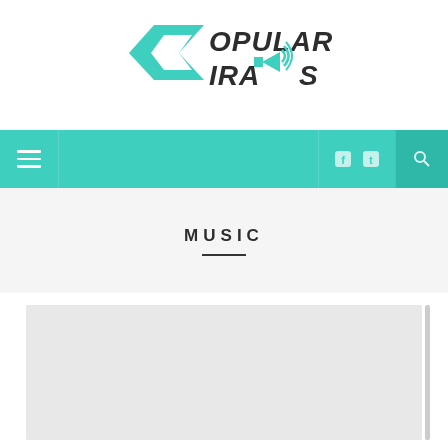[Figure (logo): Popular Virals logo with teal chevron/arrow icon and megaphone, dark italic text reading POPULAR VIRALS]
Navigation bar with hamburger menu, social icons, and search button
MUSIC
[Figure (other): Light gray placeholder card area with scrollbar indicator on right edge]